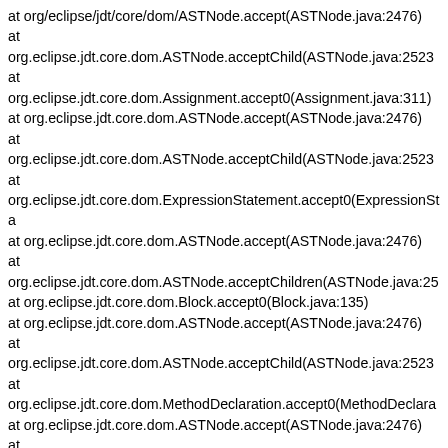at org/eclipse/jdt/core/dom/ASTNode.accept(ASTNode.java:2476) at org.eclipse.jdt.core.dom.ASTNode.acceptChild(ASTNode.java:2523 at org.eclipse.jdt.core.dom.Assignment.accept0(Assignment.java:311) at org.eclipse.jdt.core.dom.ASTNode.accept(ASTNode.java:2476) at org.eclipse.jdt.core.dom.ASTNode.acceptChild(ASTNode.java:2523 at org.eclipse.jdt.core.dom.ExpressionStatement.accept0(ExpressionSta at org.eclipse.jdt.core.dom.ASTNode.accept(ASTNode.java:2476) at org.eclipse.jdt.core.dom.ASTNode.acceptChildren(ASTNode.java:25 at org.eclipse.jdt.core.dom.Block.accept0(Block.java:135) at org.eclipse.jdt.core.dom.ASTNode.accept(ASTNode.java:2476) at org.eclipse.jdt.core.dom.ASTNode.acceptChild(ASTNode.java:2523 at org.eclipse.jdt.core.dom.MethodDeclaration.accept0(MethodDeclara at org.eclipse.jdt.core.dom.ASTNode.accept(ASTNode.java:2476) at com.swtdesigner.model.parser.JavaInfoParser$ParserVisitor.visit(Java at org.eclipse.jdt.core.dom.TypeDeclaration.accept0(TypeDeclaration.ja at org.eclipse.jdt.core.dom.ASTNode.accept(ASTNode.java:2476) at